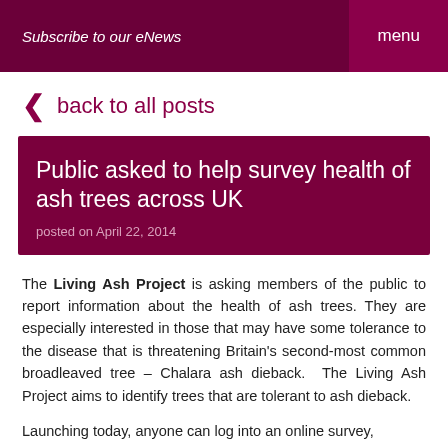Subscribe to our eNews   menu
back to all posts
Public asked to help survey health of ash trees across UK
posted on April 22, 2014
The Living Ash Project is asking members of the public to report information about the health of ash trees. They are especially interested in those that may have some tolerance to the disease that is threatening Britain's second-most common broadleaved tree – Chalara ash dieback.  The Living Ash Project aims to identify trees that are tolerant to ash dieback.
Launching today, anyone can log into an online survey, and report the health of one or more trees in their...